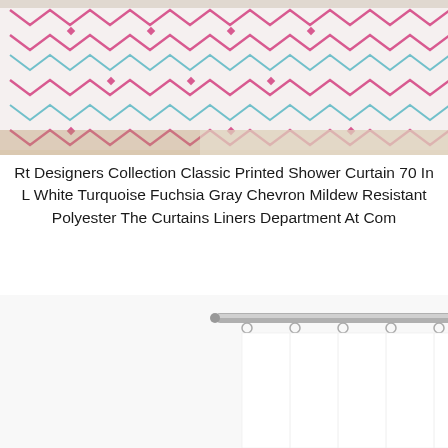[Figure (photo): Colorful chevron/zigzag patterned shower curtain in pink, teal, and gray hung in a room with wood flooring and a black metal shelving unit in the background.]
Rt Designers Collection Classic Printed Shower Curtain 70 In L White Turquoise Fuchsia Gray Chevron Mildew Resistant Polyester The Curtains Liners Department At Com
[Figure (photo): Plain white shower curtain liner hanging from a silver metal rod with curtain rings, shown against a white background.]